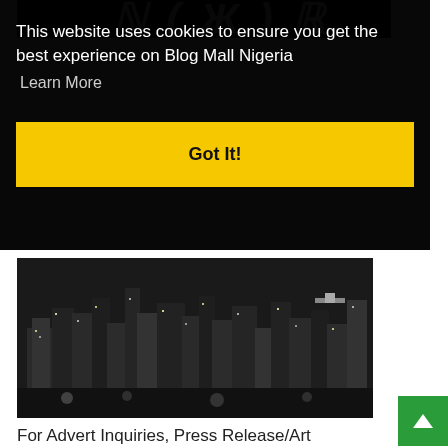[Figure (screenshot): Partially visible logo text on black background at the top of a Blog Mall Nigeria website]
This website uses cookies to ensure you get the best experience on Blog Mall Nigeria
Learn More
Got It!
[Figure (photo): Black and white aerial night photo of a city skyline with lights]
For Advert Inquiries, Press Release/Art News Tip offs: Email:
bmpadvert@gmail.com